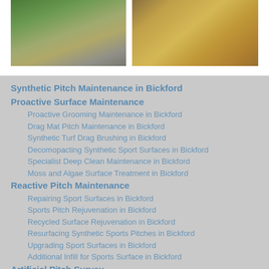[Figure (photo): Left photo: green machinery bucket digging into wet sand/concrete material]
[Figure (photo): Right photo: red/black tractor or machinery working on sandy surface from aerial view]
Synthetic Pitch Maintenance in Bickford
Proactive Surface Maintenance
Proactive Grooming Maintenance in Bickford
Drag Mat Pitch Maintenance in Bickford
Synthetic Turf Drag Brushing in Bickford
Decomopacting Synthetic Sport Surfaces in Bickford
Specialist Deep Clean Maintenance in Bickford
Moss and Algae Surface Treatment in Bickford
Reactive Pitch Maintenance
Repairing Sport Surfaces in Bickford
Sports Pitch Rejuvenation in Bickford
Recycled Surface Rejuvenation in Bickford
Resurfacing Synthetic Sports Pitches in Bickford
Upgrading Sport Surfaces in Bickford
Additional Infill for Sports Surface in Bickford
Artificial Pitch Survey
Sports Pitch Performance Tests in Bickford
Synthetic Pitch Safety Tests in Bickford